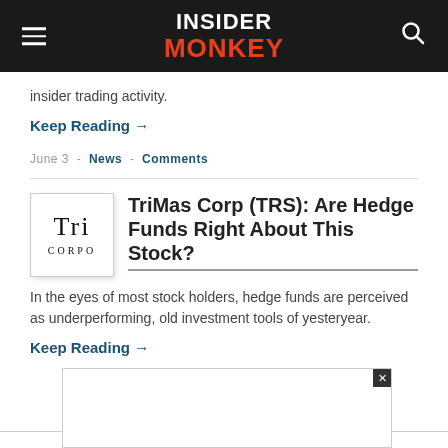INSIDER MONKEY
insider trading activity.
Keep Reading →
June 3 - News - Comments
TriMas Corp (TRS): Are Hedge Funds Right About This Stock?
In the eyes of most stock holders, hedge funds are perceived as underperforming, old investment tools of yesteryear.
Keep Reading →
[Figure (other): Advertisement box with close button (X)]